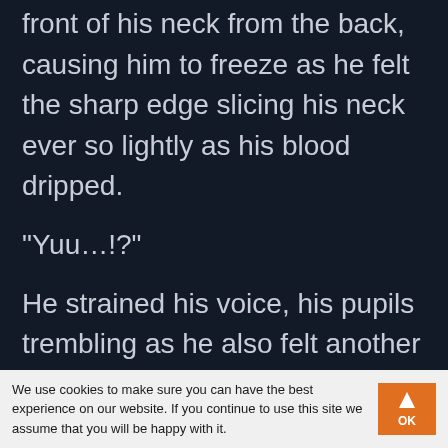front of his neck from the back, causing him to freeze as he felt the sharp edge slicing his neck ever so lightly as his blood dripped.
"Yuu…!?"
He strained his voice, his pupils trembling as he also felt another blade hanging beside his lower body.
"Which part of your body do you want to drop first?
We use cookies to make sure you can have the best experience on our website. If you continue to use this site we assume that you will be happy with it.